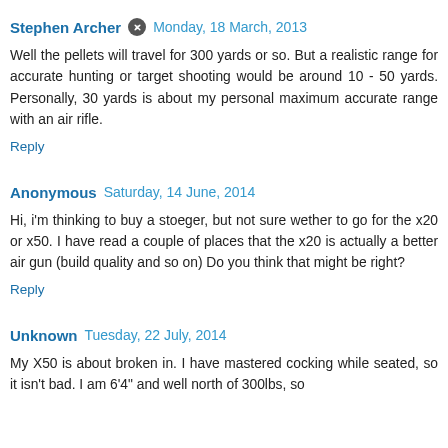Stephen Archer  Monday, 18 March, 2013
Well the pellets will travel for 300 yards or so. But a realistic range for accurate hunting or target shooting would be around 10 - 50 yards. Personally, 30 yards is about my personal maximum accurate range with an air rifle.
Reply
Anonymous  Saturday, 14 June, 2014
Hi, i'm thinking to buy a stoeger, but not sure wether to go for the x20 or x50. I have read a couple of places that the x20 is actually a better air gun (build quality and so on) Do you think that might be right?
Reply
Unknown  Tuesday, 22 July, 2014
My X50 is about broken in. I have mastered cocking while seated, so it isn't bad. I am 6'4" and well north of 300lbs, so